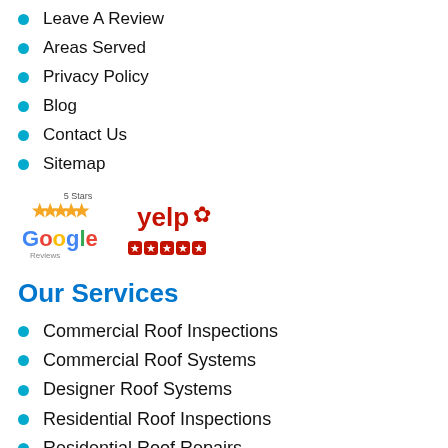Leave A Review
Areas Served
Privacy Policy
Blog
Contact Us
Sitemap
[Figure (logo): Google 5 Stars Reviews logo and Yelp 5 stars logo side by side]
Our Services
Commercial Roof Inspections
Commercial Roof Systems
Designer Roof Systems
Residential Roof Inspections
Residential Roof Repairs
Residential Roof Replacement